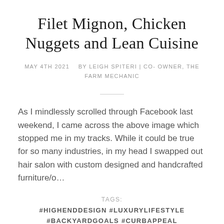Filet Mignon, Chicken Nuggets and Lean Cuisine
MAY 4TH 2021    BY LEIGH SPITERI | CO- OWNER, THE FARM MECHANIC
As I mindlessly scrolled through Facebook last weekend, I came across the above image which stopped me in my tracks. While it could be true for so many industries, in my head I swapped out hair salon with custom designed and handcrafted furniture/o…
TAGS:
#HIGHENDDESIGN #LUXURYLIFESTYLE #BACKYARDGOALS #CURBAPPEAL #ARTISANFURNITURE #ARTISANDESIGN